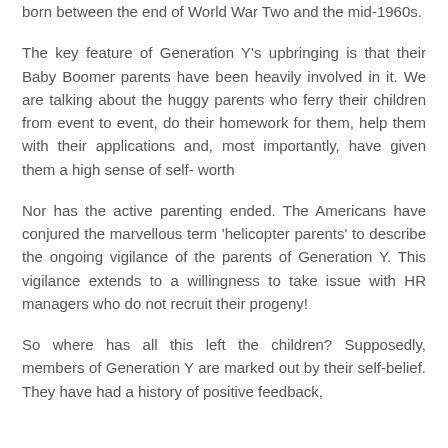born between the end of World War Two and the mid-1960s.
The key feature of Generation Y's upbringing is that their Baby Boomer parents have been heavily involved in it. We are talking about the huggy parents who ferry their children from event to event, do their homework for them, help them with their applications and, most importantly, have given them a high sense of self- worth
Nor has the active parenting ended. The Americans have conjured the marvellous term 'helicopter parents' to describe the ongoing vigilance of the parents of Generation Y. This vigilance extends to a willingness to take issue with HR managers who do not recruit their progeny!
So where has all this left the children? Supposedly, members of Generation Y are marked out by their self-belief. They have had a history of positive feedback, and to all appearances are marked by their …